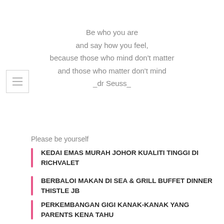Be who you are
and say how you feel,
because those who mind don't matter
and those who matter don't mind
_dr Seuss_
Please be yourself
KEDAI EMAS MURAH JOHOR KUALITI TINGGI DI RICHVALET
BERBALOI MAKAN DI SEA & GRILL BUFFET DINNER THISTLE JB
PERKEMBANGAN GIGI KANAK-KANAK YANG PARENTS KENA TAHU